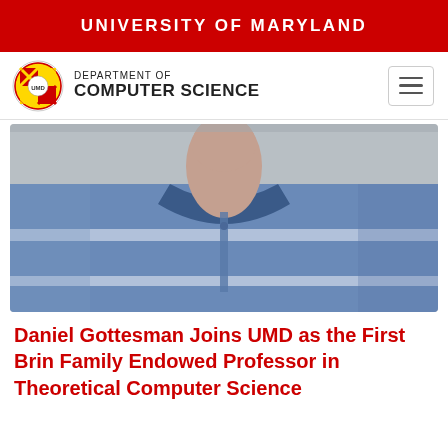UNIVERSITY OF MARYLAND
[Figure (logo): University of Maryland Department of Computer Science logo with UMD seal and navigation hamburger menu]
[Figure (photo): Torso-level photo of a man wearing a blue striped polo shirt against a grey background, face not visible]
Daniel Gottesman Joins UMD as the First Brin Family Endowed Professor in Theoretical Computer Science